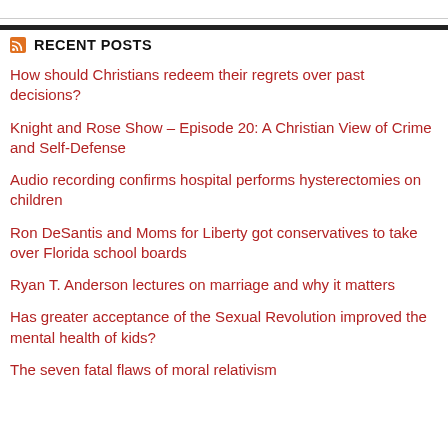RECENT POSTS
How should Christians redeem their regrets over past decisions?
Knight and Rose Show – Episode 20: A Christian View of Crime and Self-Defense
Audio recording confirms hospital performs hysterectomies on children
Ron DeSantis and Moms for Liberty got conservatives to take over Florida school boards
Ryan T. Anderson lectures on marriage and why it matters
Has greater acceptance of the Sexual Revolution improved the mental health of kids?
The seven fatal flaws of moral relativism